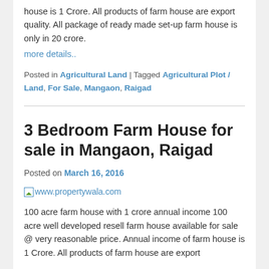house is 1 Crore. All products of farm house are export quality. All package of ready made set-up farm house is only in 20 crore.
more details..
Posted in Agricultural Land | Tagged Agricultural Plot / Land, For Sale, Mangaon, Raigad
3 Bedroom Farm House for sale in Mangaon, Raigad
Posted on March 16, 2016
[Figure (other): Broken image placeholder with link to www.propertywala.com]
100 acre farm house with 1 crore annual income 100 acre well developed resell farm house available for sale @ very reasonable price. Annual income of farm house is 1 Crore. All products of farm house are export